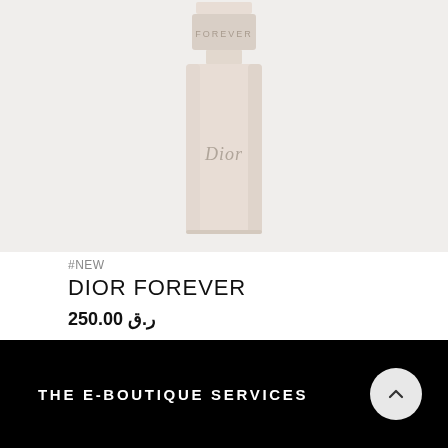[Figure (photo): Dior Forever foundation bottle photographed on a light grey/beige background. The bottle is tall and slim with a matte beige/nude finish and 'Dior' script logo visible on front. The cap reads 'FOREVER'.]
#NEW
DIOR FOREVER
ر.ق 250.00
THE E-BOUTIQUE SERVICES